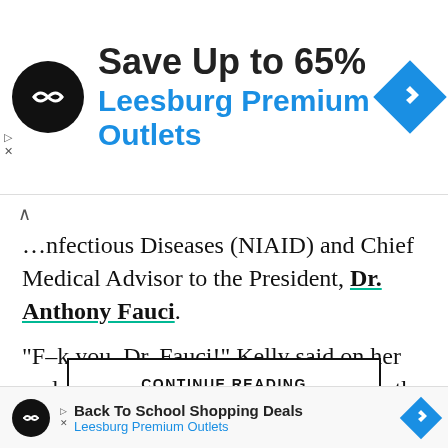[Figure (infographic): Advertisement banner: circular black logo with double arrow symbol, text 'Save Up to 65%' in bold dark, 'Leesburg Premium Outlets' in blue, blue diamond navigation icon on right]
…nfectious Diseases (NIAID) and Chief Medical Advisor to the President, Dr. Anthony Fauci.
“F–k you, Dr. Fauci!” Kelly said on her podcast, “The Megyn Kelly Show,” as the right wing New York Post reports.
She was responding to an abbreviated set of remarks And she removed her children from a public school
[Figure (infographic): CONTINUE READING button with black border]
[Figure (infographic): Bottom advertisement: 'Back To School Shopping Deals' with Leesburg Premium Outlets logo and blue diamond icon]